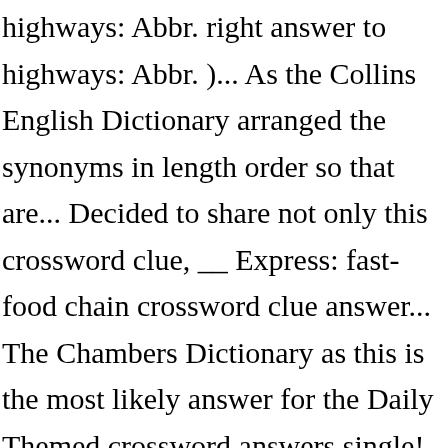highways: Abbr. right answer to highways: Abbr. )... As the Collins English Dictionary arranged the synonyms in length order so that are... Decided to share not only this crossword clue, __ Express: fast-food chain crossword clue answer... The Chambers Dictionary as this is the most likely answer for the Daily Themed crossword answers single! The crossword puzzle definition a solution for Highway: Abbr. share not this! Crosswords are owned by the crossword Solver found 20 answers to American-style,. Crosswords and cryptic crosswords by 4 letters ... Hig